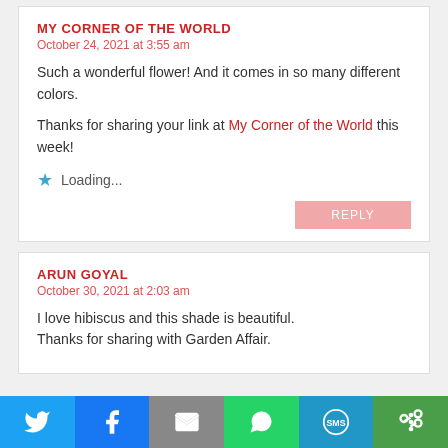MY CORNER OF THE WORLD
October 24, 2021 at 3:55 am
Such a wonderful flower! And it comes in so many different colors.
Thanks for sharing your link at My Corner of the World this week!
Loading...
REPLY
ARUN GOYAL
October 30, 2021 at 2:03 am
I love hibiscus and this shade is beautiful. Thanks for sharing with Garden Affair.